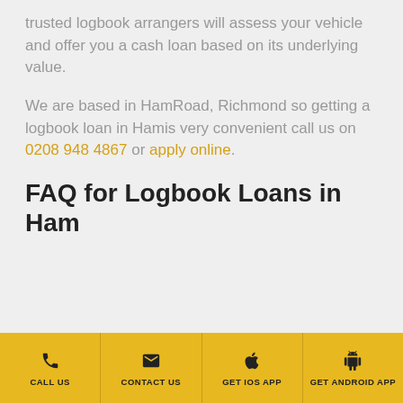trusted logbook arrangers will assess your vehicle and offer you a cash loan based on its underlying value.
We are based in HamRoad, Richmond so getting a logbook loan in Hamis very convenient call us on 0208 948 4867 or apply online.
FAQ for Logbook Loans in Ham
CALL US | CONTACT US | GET iOS APP | GET ANDROID APP